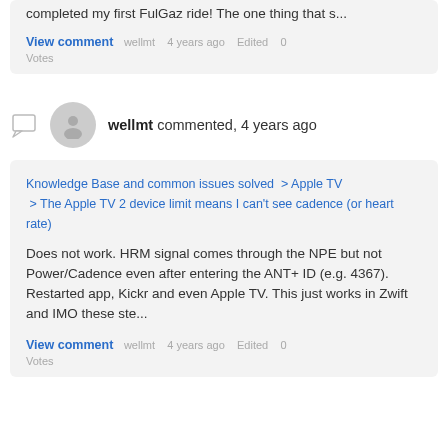completed my first FulGaz ride! The one thing that s...
View comment
wellmt commented, 4 years ago
Knowledge Base and common issues solved > Apple TV > The Apple TV 2 device limit means I can't see cadence (or heart rate)
Does not work. HRM signal comes through the NPE but not Power/Cadence even after entering the ANT+ ID (e.g. 4367). Restarted app, Kickr and even Apple TV. This just works in Zwift and IMO these ste...
View comment